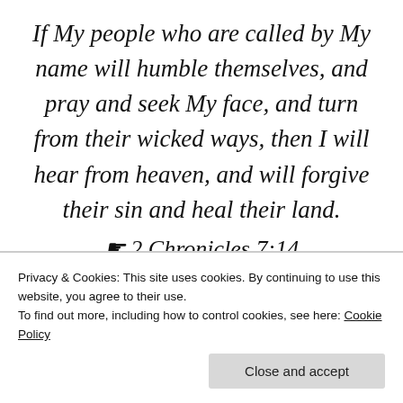If My people who are called by My name will humble themselves, and pray and seek My face, and turn from their wicked ways, then I will hear from heaven, and will forgive their sin and heal their land.
☞ 2 Chronicles 7:14
So how do we bring back God's glory to America? Perhaps you're thinking that you'd love to see that happen – for America to truly be great again. But it
Privacy & Cookies: This site uses cookies. By continuing to use this website, you agree to their use.
To find out more, including how to control cookies, see here: Cookie Policy
Close and accept